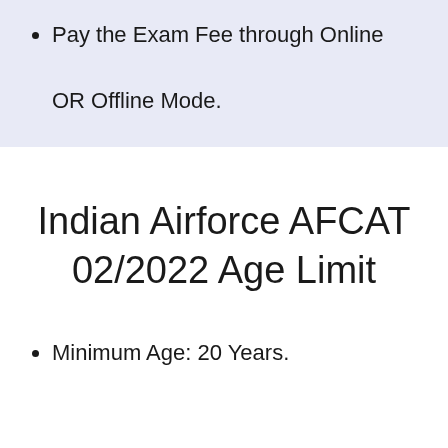Pay the Exam Fee through Online OR Offline Mode.
Indian Airforce AFCAT 02/2022 Age Limit
Minimum Age: 20 Years.